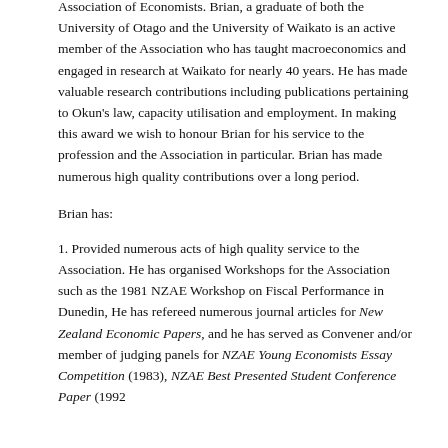Association of Economists. Brian, a graduate of both the University of Otago and the University of Waikato is an active member of the Association who has taught macroeconomics and engaged in research at Waikato for nearly 40 years. He has made valuable research contributions including publications pertaining to Okun's law, capacity utilisation and employment. In making this award we wish to honour Brian for his service to the profession and the Association in particular. Brian has made numerous high quality contributions over a long period.
Brian has:
1. Provided numerous acts of high quality service to the Association. He has organised Workshops for the Association such as the 1981 NZAE Workshop on Fiscal Performance in Dunedin, He has refereed numerous journal articles for New Zealand Economic Papers, and he has served as Convener and/or member of judging panels for NZAE Young Economists Essay Competition (1983), NZAE Best Presented Student Conference Paper (1992